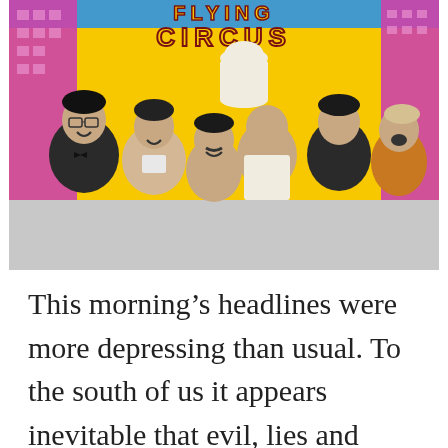[Figure (photo): Monty Python's Flying Circus promotional photo/poster showing the six members of Monty Python against a yellow background with pink/purple buildings. The title 'FLYING CIRCUS' appears at the top in circus-style lettering on a blue background strip. Six men are posed together laughing and making expressions.]
This morning's headlines were more depressing than usual. To the south of us it appears inevitable that evil, lies and